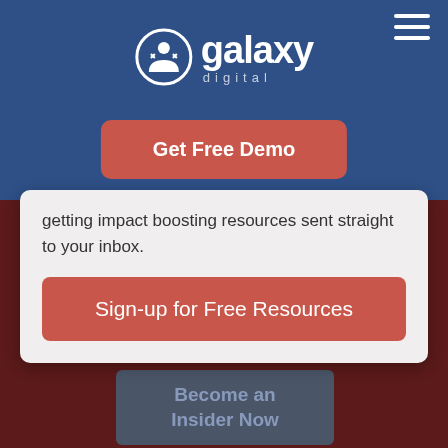[Figure (logo): Galaxy Digital logo with circular person icon and 'galaxy digital' wordmark in white on blue background]
Get Free Demo
getting impact boosting resources sent straight to your inbox.
Sign-up for Free Resources
Become an Insider Now